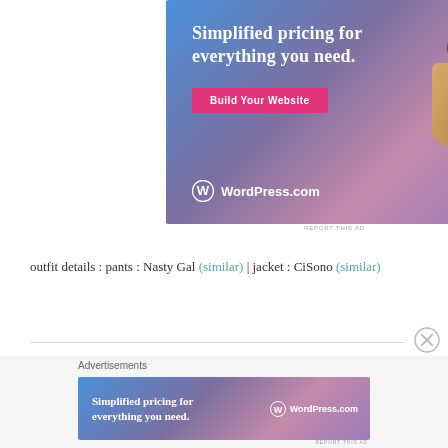[Figure (illustration): WordPress.com advertisement banner with blue-purple-pink gradient background, white bold text 'Simplified pricing for everything you need.', a pink 'Build Your Website' button, a price tag illustration, and WordPress.com logo in white.]
REPORT THIS AD
outfit details : pants : Nasty Gal (similar) | jacket : CiSono (similar)
Advertisements
[Figure (illustration): Smaller WordPress.com advertisement banner with same gradient, text 'Simplified pricing for everything you need.' and WordPress.com logo.]
REPORT THIS AD